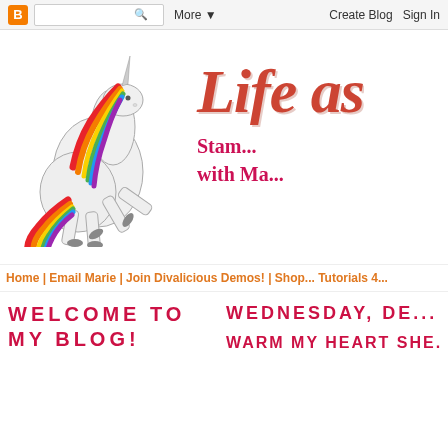Blogger navigation bar with logo, search, More, Create Blog, Sign In
[Figure (illustration): Rainbow-maned white unicorn rearing up on hind legs, colorful mane in red/orange/yellow/green/blue/purple]
Life as...
Stamping with Ma...
Home | Email Marie | Join Divalicious Demos! | Shop... Tutorials 4...
WELCOME TO MY BLOG!
WEDNESDAY, DE...
WARM MY HEART SHE...